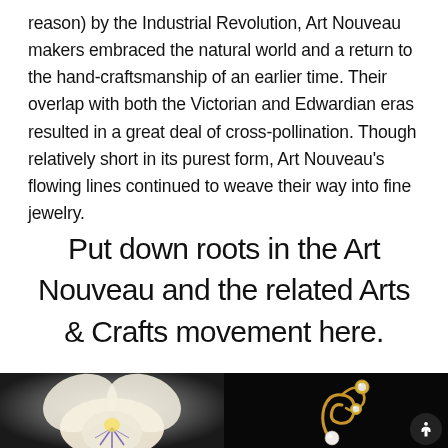reason) by the Industrial Revolution, Art Nouveau makers embraced the natural world and a return to the hand-craftsmanship of an earlier time. Their overlap with both the Victorian and Edwardian eras resulted in a great deal of cross-pollination. Though relatively short in its purest form, Art Nouveau's flowing lines continued to weave their way into fine jewelry.
Put down roots in the Art Nouveau and the related Arts & Crafts movement here.
[Figure (photo): Close-up photo of a pale cream and white flower brooch (pansy-like) with purple/violet detail at the center, on a dark gradient background.]
[Figure (photo): Close-up photo of a gold Art Nouveau pendant with flowing organic curves, set with diamonds and a pearl, on a black background.]